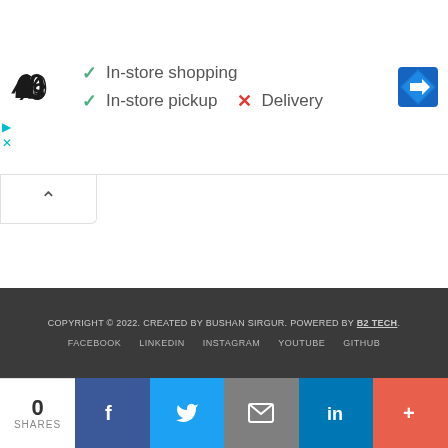[Figure (screenshot): Under Armour logo and store info panel showing In-store shopping (check), In-store pickup (check), Delivery (X), with a blue Google Maps navigation icon on the right. Small cyan ad play and X icons in corner. Collapse tab with up arrow caret below.]
[Figure (screenshot): Collapse/accordion tab with upward caret (^) arrow button]
COPYRIGHT © 2022. CREATED BY BUSHAN SIRGUR. POWERED BY B2 TECH.
FACEBOOK   LINKEDIN   INSTAGRAM   YOUTUBE   GITHUB
[Figure (screenshot): Social share bar: 0 SHARES count, Facebook (f), Twitter (bird), Email (envelope), LinkedIn (in), More (+) buttons]